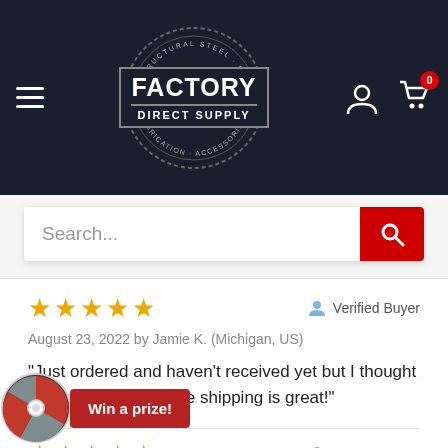[Figure (logo): Factory Direct Supply logo — circular badge with hamburger menu on left, user and cart icons on right in dark navy header]
[Figure (screenshot): Search bar with placeholder text 'Search...' and a red search button with magnifying glass icon]
★★★★★   Verified Buyer
August 23, 2022 by Jamie K. (Michigan, US)
"Just ordered and haven't received yet but I thought price was fair and free shipping is great!"
★★★★★   Verified Buyer
Win a prize!